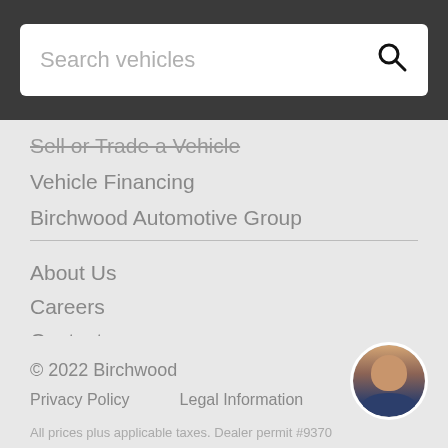[Figure (screenshot): Search vehicles input box with magnifying glass icon on dark background]
Sell or Trade a Vehicle
Vehicle Financing
Birchwood Automotive Group
About Us
Careers
Contact
[Figure (other): Social media icons: Facebook, Twitter, Instagram, YouTube]
© 2022 Birchwood
Privacy Policy    Legal Information
All prices plus applicable taxes. Dealer permit #9370